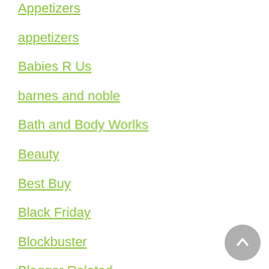Appetizers
appetizers
Babies R Us
barnes and noble
Bath and Body Worlks
Beauty
Best Buy
Black Friday
Blockbuster
Blogger Related
Canvas People
Chick-Fil-A
Contests
Coupon Alerts